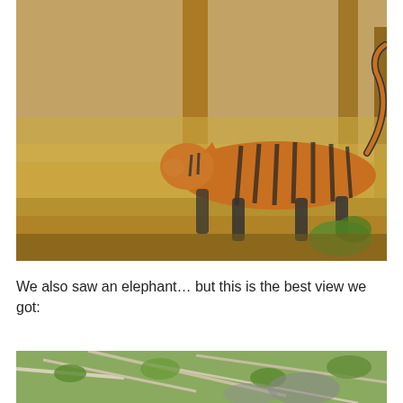[Figure (photo): A Bengal tiger walking through dry grassland forest, with golden-brown dried grass and trees visible. The tiger is facing left, its tail curled upward, with black stripes on orange-brown coat.]
We also saw an elephant… but this is the best view we got:
[Figure (photo): Partial view of an elephant partially obscured by branches and foliage, showing green leaves and grey elephant skin through the vegetation.]